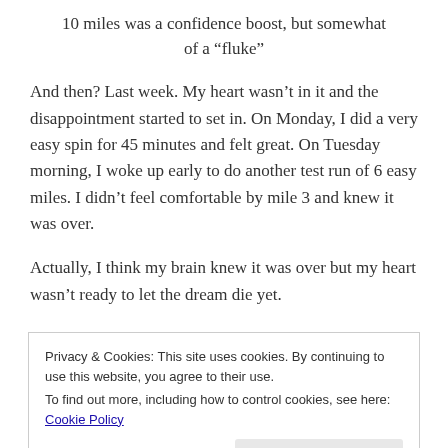10 miles was a confidence boost, but somewhat of a “fluke”
And then? Last week. My heart wasn’t in it and the disappointment started to set in. On Monday, I did a very easy spin for 45 minutes and felt great. On Tuesday morning, I woke up early to do another test run of 6 easy miles. I didn’t feel comfortable by mile 3 and knew it was over.
Actually, I think my brain knew it was over but my heart wasn’t ready to let the dream die yet.
Privacy & Cookies: This site uses cookies. By continuing to use this website, you agree to their use.
To find out more, including how to control cookies, see here: Cookie Policy
Wednesday and Thursday evening, even though I had